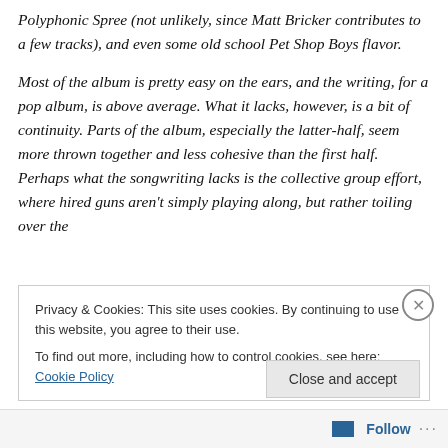Polyphonic Spree (not unlikely, since Matt Bricker contributes to a few tracks), and even some old school Pet Shop Boys flavor.
Most of the album is pretty easy on the ears, and the writing, for a pop album, is above average. What it lacks, however, is a bit of continuity. Parts of the album, especially the latter-half, seem more thrown together and less cohesive than the first half. Perhaps what the songwriting lacks is the collective group effort, where hired guns aren't simply playing along, but rather toiling over the
Privacy & Cookies: This site uses cookies. By continuing to use this website, you agree to their use.
To find out more, including how to control cookies, see here: Cookie Policy
Close and accept
Follow